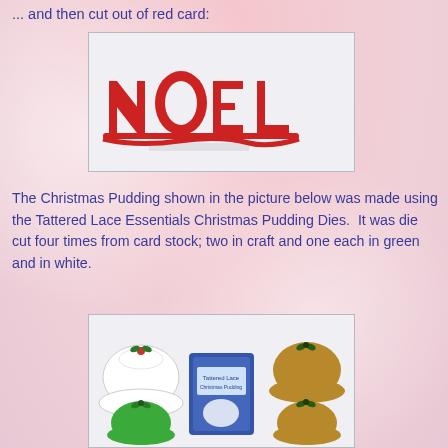... and then cut out of red card:
[Figure (photo): Red die-cut card spelling NOEL on a white background]
The Christmas Pudding shown in the picture below was made using the Tattered Lace Essentials Christmas Pudding Dies.  It was die cut four times from card stock; two in craft and one each in green and in white.
[Figure (photo): Three Christmas pudding die cuts in white, green, and brown/craft colors, alongside a Tattered Lace Essentials Christmas Pudding Dies packaging in the center]